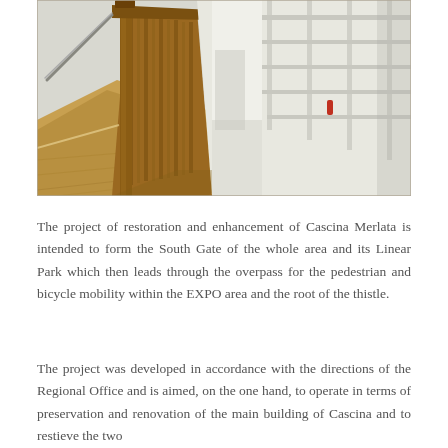[Figure (photo): Interior architectural photo showing a wooden staircase with decorative carved balustrade and metal handrail, viewed from above/side. The staircase is made of warm brown wood. In the background, a white modern building exterior is visible with a white metal railing system. Natural light casts strong shadows.]
The project of restoration and enhancement of Cascina Merlata is intended to form the South Gate of the whole area and its Linear Park which then leads through the overpass for the pedestrian and bicycle mobility within the EXPO area and the root of the thistle.
The project was developed in accordance with the directions of the Regional Office and is aimed, on the one hand, to operate in terms of preservation and renovation of the main building of Cascina and to restieve the two